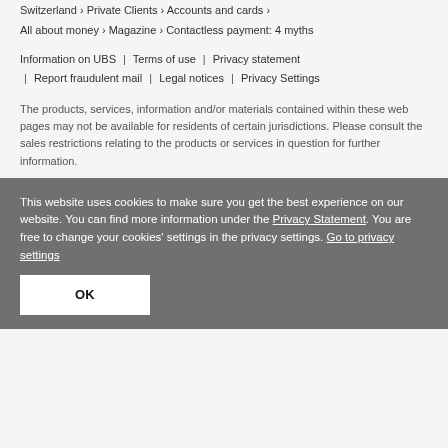Switzerland > Private Clients > Accounts and cards >
All about money > Magazine > Contactless payment: 4 myths
Information on UBS | Terms of use | Privacy statement | Report fraudulent mail | Legal notices | Privacy Settings
The products, services, information and/or materials contained within these web pages may not be available for residents of certain jurisdictions. Please consult the sales restrictions relating to the products or services in question for further information.
This website uses cookies to make sure you get the best experience on our website. You can find more information under the Privacy Statement. You are free to change your cookies' settings in the privacy settings. Go to privacy settings
OK